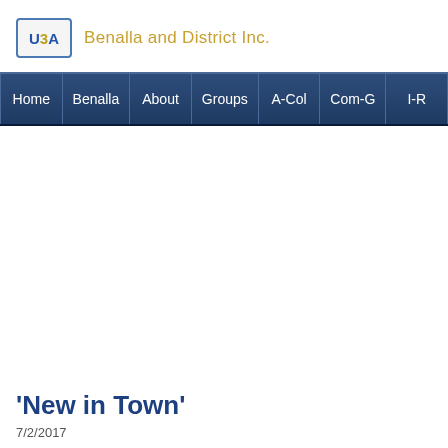U3A Benalla and District Inc.
Home | Benalla | About | Groups | A-Col | Com-G | I-R
'New in Town'
7/2/2017